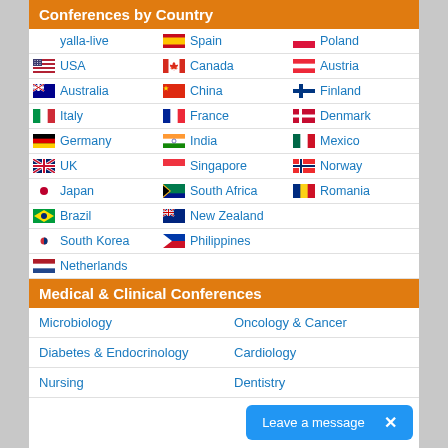Conferences by Country
| yalla-live | Spain | Poland |
| USA | Canada | Austria |
| Australia | China | Finland |
| Italy | France | Denmark |
| Germany | India | Mexico |
| UK | Singapore | Norway |
| Japan | South Africa | Romania |
| Brazil | New Zealand |  |
| South Korea | Philippines |  |
| Netherlands |  |  |
Medical & Clinical Conferences
| Microbiology | Oncology & Cancer |
| Diabetes & Endocrinology | Cardiology |
| Nursing | Dentistry |
Leave a message  ×